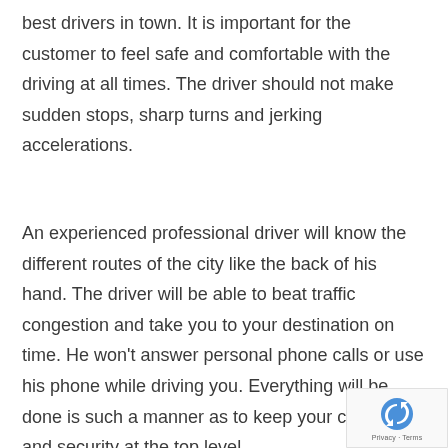best drivers in town. It is important for the customer to feel safe and comfortable with the driving at all times. The driver should not make sudden stops, sharp turns and jerking accelerations.
An experienced professional driver will know the different routes of the city like the back of his hand. The driver will be able to beat traffic congestion and take you to your destination on time. He won't answer personal phone calls or use his phone while driving you. Everything will be done is such a manner as to keep your comfort and security at the top level.
[Figure (logo): reCAPTCHA badge with circular arrow logo and Privacy - Terms text]